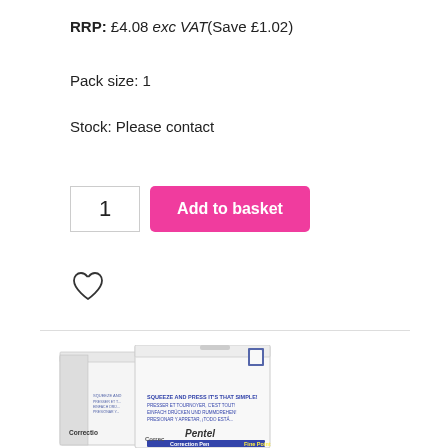RRP: £4.08 exc VAT(Save £1.02)
Pack size: 1
Stock: Please contact
1  Add to basket
[Figure (illustration): Two Pentel Correction Pen Fine Point product boxes shown side by side]
Pentel Correction Pen Fine Point